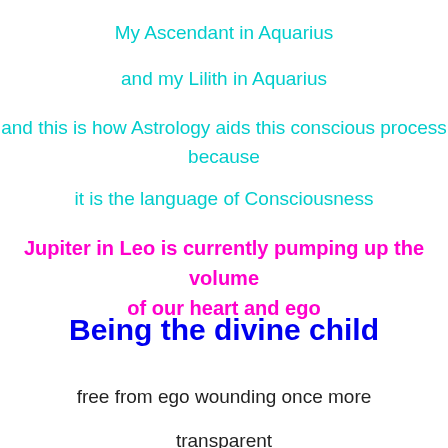My Ascendant in Aquarius
and my Lilith in Aquarius
and this is how Astrology aids this conscious process because
it is the language of Consciousness
Jupiter in Leo is currently pumping up the volume of our heart and ego
Being the divine child
free from ego wounding once more
transparent